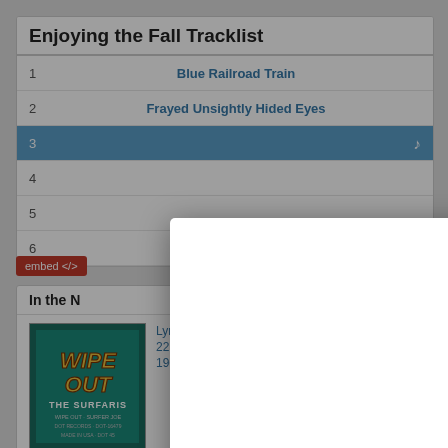Enjoying the Fall Tracklist
| # | Track |
| --- | --- |
| 1 | Blue Railroad Train |
| 2 | Frayed Unsightly Hided Eyes |
| 3 |  |
| 4 |  |
| 5 |  |
| 6 |  |
embed </>
In the ...    ... News »
[Figure (illustration): Album cover for Wipe Out by The Surfaris]
Lyricapsule: The Surfaris Drop 'Wipe Out'; June 22, 1963
[Figure (screenshot): Modal dialog showing Apple Music player for 'Girlwhiskey' with play and volume controls, and a close (X) button]
Play "Girlwhiskey"
on Apple Music